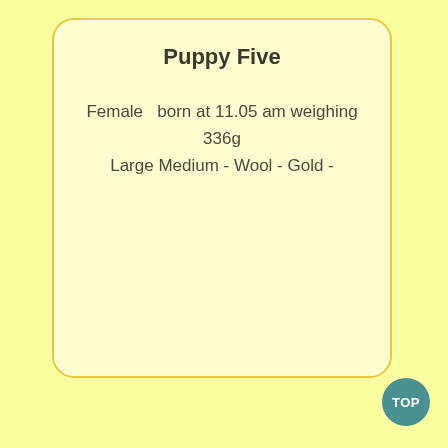Puppy Five
Female  born at 11.05 am weighing 336g
Large Medium - Wool - Gold -